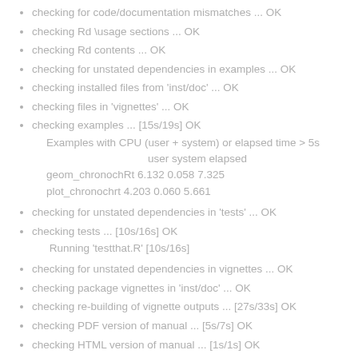checking for code/documentation mismatches ... OK
checking Rd \usage sections ... OK
checking Rd contents ... OK
checking for unstated dependencies in examples ... OK
checking installed files from 'inst/doc' ... OK
checking files in 'vignettes' ... OK
checking examples ... [15s/19s] OK
Examples with CPU (user + system) or elapsed time > 5s
    user system elapsed
geom_chronochRt 6.132 0.058 7.325
plot_chronochrt 4.203 0.060 5.661
checking for unstated dependencies in 'tests' ... OK
checking tests ... [10s/16s] OK
    Running 'testthat.R' [10s/16s]
checking for unstated dependencies in vignettes ... OK
checking package vignettes in 'inst/doc' ... OK
checking re-building of vignette outputs ... [27s/33s] OK
checking PDF version of manual ... [5s/7s] OK
checking HTML version of manual ... [1s/1s] OK
checking for non-standard things in the check directory ... OK
DONE
Status: OK